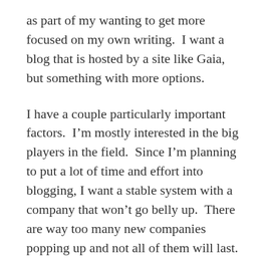as part of my wanting to get more focused on my own writing.  I want a blog that is hosted by a site like Gaia, but something with more options.
I have a couple particularly important factors.  I'm mostly interested in the big players in the field.  Since I'm planning to put a lot of time and effort into blogging, I want a stable system with a company that won't go belly up.  There are way too many new companies popping up and not all of them will last.
However, problems can even arise with